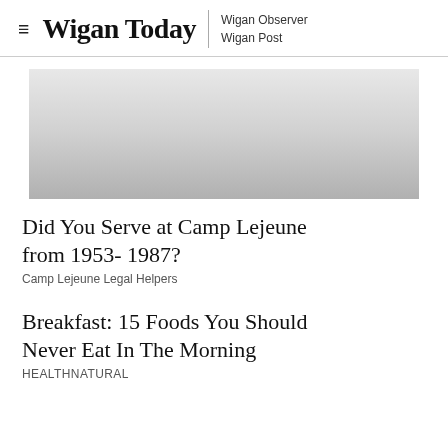Wigan Today | Wigan Observer Wigan Post
[Figure (other): Gray gradient advertisement banner block]
Did You Serve at Camp Lejeune from 1953- 1987?
Camp Lejeune Legal Helpers
Breakfast: 15 Foods You Should Never Eat In The Morning
HEALTHNATURAL